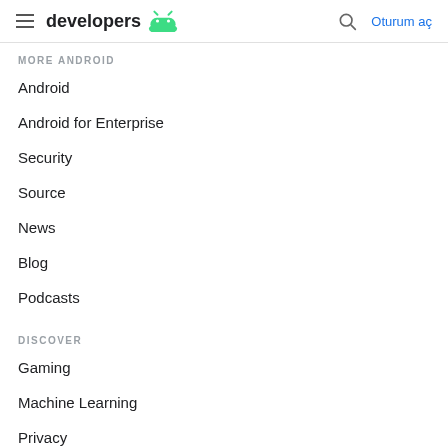developers Android | Oturum aç
MORE ANDROID
Android
Android for Enterprise
Security
Source
News
Blog
Podcasts
DISCOVER
Gaming
Machine Learning
Privacy